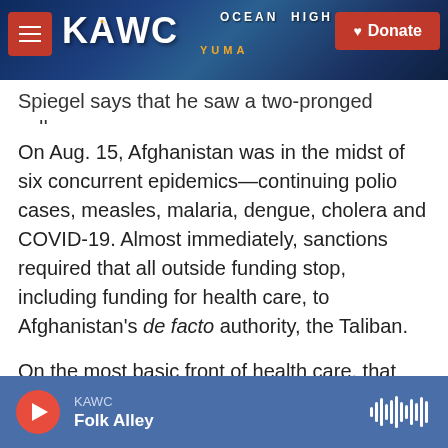KAWC | Donate
Spiegel says that he saw a two-pronged collapse.
On Aug. 15, Afghanistan was in the midst of six concurrent epidemics—continuing polio cases, measles, malaria, dengue, cholera and COVID-19. Almost immediately, sanctions required that all outside funding stop, including funding for health care, to Afghanistan's de facto authority, the Taliban.
On the most basic front of health care, that meant money dried up for primary health care, family planning, immunization programs and nutrition services. That money had been provided by USAID
KAWC | Folk Alley